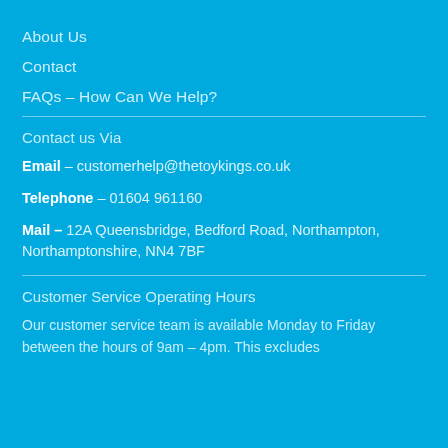About Us
Contact
FAQs – How Can We Help?
Contact us Via
Email – customerhelp@thetoykings.co.uk
Telephone – 01604 961160
Mail – 12A Queensbridge, Bedford Road, Northampton, Northamptonshire, NN4 7BF
Customer Service Operating Hours
Our customer service team is available Monday to Friday between the hours of 9am – 4pm. This excludes